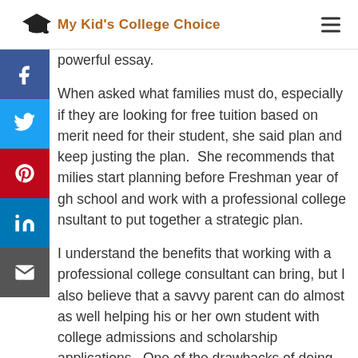My Kid's College Choice
powerful essay.
When asked what families must do, especially if they are looking for free tuition based on merit need for their student, she said plan and keep justing the plan.  She recommends that milies start planning before Freshman year of gh school and work with a professional college nsultant to put together a strategic plan.
I understand the benefits that working with a professional college consultant can bring, but I also believe that a savvy parent can do almost as well helping his or her own student with college admissions and scholarship applications.  One of the drawbacks of doing this yourself is the